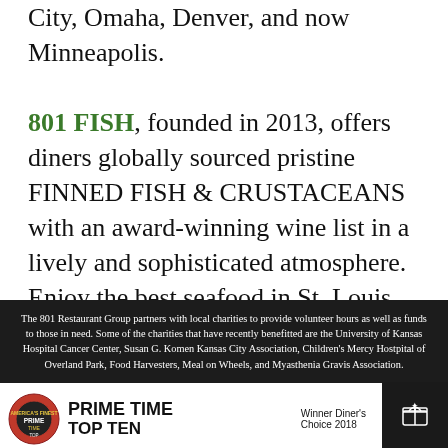City, Omaha, Denver, and now Minneapolis.
801 FISH, founded in 2013, offers diners globally sourced pristine FINNED FISH & CRUSTACEANS with an award-winning wine list in a lively and sophisticated atmosphere. Enjoy the best seafood in St. Louis and come visit 801 Fish.
The 801 Restaurant Group partners with local charities to provide volunteer hours as well as funds to those in need. Some of the charities that have recently benefitted are the University of Kansas Hospital Cancer Center, Susan G. Komen Kansas City Association, Children's Mercy Hostpital of Overland Park, Food Harvesters, Meal on Wheels, and Myasthenia Gravis Association.
[Figure (logo): Prime Time Top Ten logo with circular red and black emblem and bold text]
Winner Diner's Choice 2018